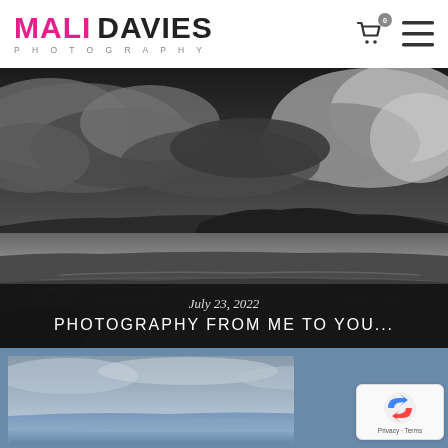MALI DAVIES PHOTOGRAPHY
[Figure (photo): Black and white coastal landscape photograph showing a beach with wet sand in the foreground, rolling sand dunes and hills in the background, and a dramatic stormy sky with heavy clouds overhead.]
July 23, 2022
PHOTOGRAPHY FROM ME TO YOU...
[Figure (photo): Partial view of a second photograph showing a coastal/seascape scene with blue-grey tones, partially cut off at page bottom.]